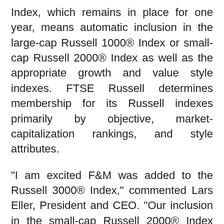Index, which remains in place for one year, means automatic inclusion in the large-cap Russell 1000® Index or small-cap Russell 2000® Index as well as the appropriate growth and value style indexes. FTSE Russell determines membership for its Russell indexes primarily by objective, market-capitalization rankings, and style attributes.
"I am excited F&M was added to the Russell 3000® Index," commented Lars Eller, President and CEO. "Our inclusion in the small-cap Russell 2000® Index reflects the significant growth we have achieved as a result of the successful execution of our multi-year strategic plan, the value we provide our